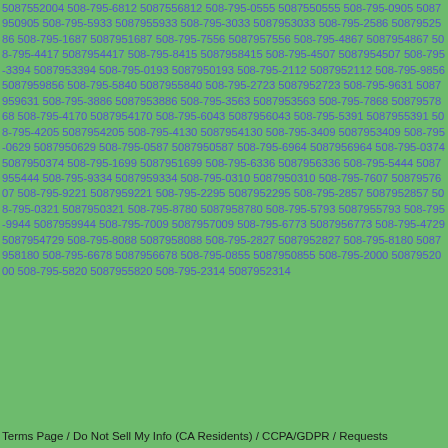5087552004 508-795-6812 5087556812 508-795-0555 5087550555 508-795-0905 5087950905 508-795-5933 5087955933 508-795-3033 5087953033 508-795-2586 5087952586 508-795-1687 5087951687 508-795-7556 5087957556 508-795-4867 5087954867 508-795-4417 5087954417 508-795-8415 5087958415 508-795-4507 5087954507 508-795-3394 5087953394 508-795-0193 5087950193 508-795-2112 5087952112 508-795-9856 5087959856 508-795-5840 5087955840 508-795-2723 5087952723 508-795-9631 5087959631 508-795-3886 5087953886 508-795-3563 5087953563 508-795-7868 5087957868 508-795-4170 5087954170 508-795-6043 5087956043 508-795-5391 5087955391 508-795-4205 5087954205 508-795-4130 5087954130 508-795-3409 5087953409 508-795-0629 5087950629 508-795-0587 5087950587 508-795-6964 5087956964 508-795-0374 5087950374 508-795-1699 5087951699 508-795-6336 5087956336 508-795-5444 5087955444 508-795-9334 5087959334 508-795-0310 5087950310 508-795-7607 5087957607 508-795-9221 5087959221 508-795-2295 5087952295 508-795-2857 5087952857 508-795-0321 5087950321 508-795-8780 5087958780 508-795-5793 5087955793 508-795-9944 5087959944 508-795-7009 5087957009 508-795-6773 5087956773 508-795-4729 5087954729 508-795-8088 5087958088 508-795-2827 5087952827 508-795-8180 5087958180 508-795-6678 5087956678 508-795-0855 5087950855 508-795-2000 5087952000 508-795-5820 5087955820 508-795-2314 5087952314
Terms Page / Do Not Sell My Info (CA Residents) / CCPA/GDPR / Requests